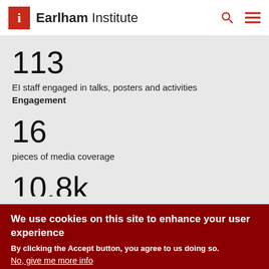Earlham Institute
113
EI staff engaged in talks, posters and activities
Engagement
16
pieces of media coverage
We use cookies on this site to enhance your user experience
By clicking the Accept button, you agree to us doing so.
No, give me more info
OK, I agree
No, thanks